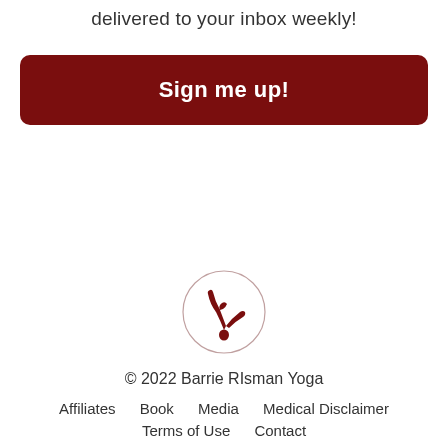delivered to your inbox weekly!
Sign me up!
[Figure (logo): Barrie Risman Yoga logo: a circular outline containing a dark red silhouette of a person doing a yoga headstand/balance pose]
© 2022 Barrie RIsman Yoga
Affiliates    Book    Media    Medical Disclaimer
Terms of Use    Contact